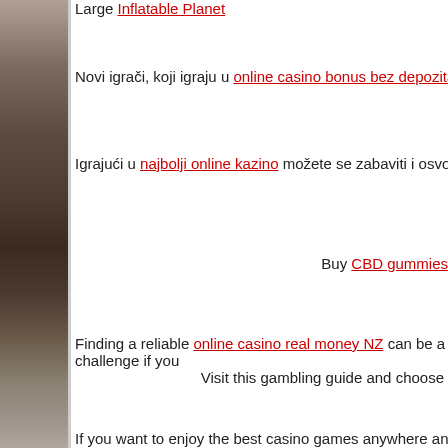Large Inflatable Planet
Novi igrači, koji igraju u online casino bonus bez depozita, mogu
Igrajući u najbolji online kazino možete se zabaviti i osvojiti p
Buy CBD gummies
Finding a reliable online casino real money NZ can be a challenge if you. Visit this gambling guide and choose
If you want to enjoy the best casino games anywhere and anytime. ArabCasinoHEX.com, what is definitel
The limitations from UKGC are making it harder for UK players to enjoy. gamstop on casinosnot
luotettavat nett
ilmaiset kolikkk
Free spins guide for Ar